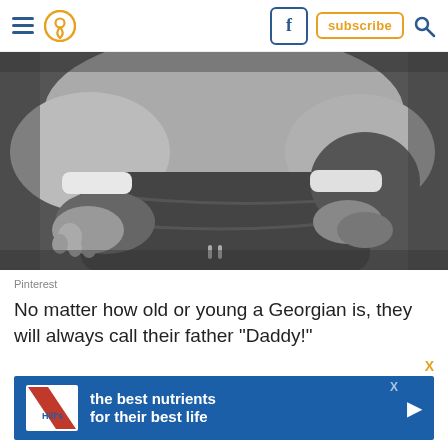Navigation header with hamburger menu, location pin icon, Facebook button, subscribe button, search icon
[Figure (photo): Black and white photo of a baby's feet and legs in white socks and white onesie, resting on what appears to be a parent's lap in dark pants]
Pinterest
No matter how old or young a Georgian is, they will always call their father "Daddy!"
[Figure (infographic): Hill's Pet Nutrition advertisement banner with blue background showing text 'the best nutrients for their best life' with Hill's logo on left and play button on right]